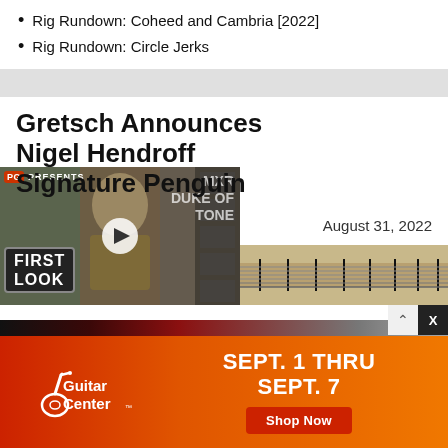Rig Rundown: Coheed and Cambria [2022]
Rig Rundown: Circle Jerks
Gretsch Announces Nigel Hendroff Signature Penguin
August 31, 2022
[Figure (screenshot): Video thumbnail with PG PRESENTS label, First Look badge, MXR DUKE OF TONE text overlay, play button, and a guitar image at the bottom. Also shows a Guitar Center advertisement at the bottom with SEPT. 1 THRU SEPT. 7 and Shop Now button.]